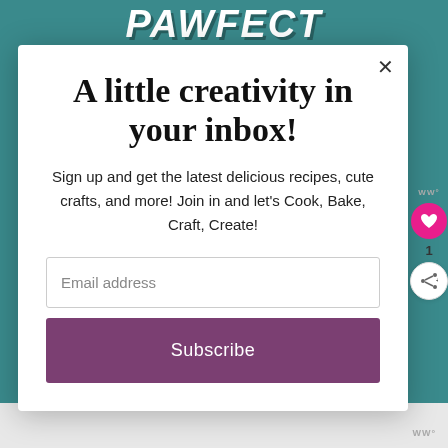[Figure (screenshot): Teal background with white bold italic text 'PAWFECT MATCH' partially visible behind modal]
A little creativity in your inbox!
Sign up and get the latest delicious recipes, cute crafts, and more! Join in and let's Cook, Bake, Craft, Create!
Email address
Subscribe